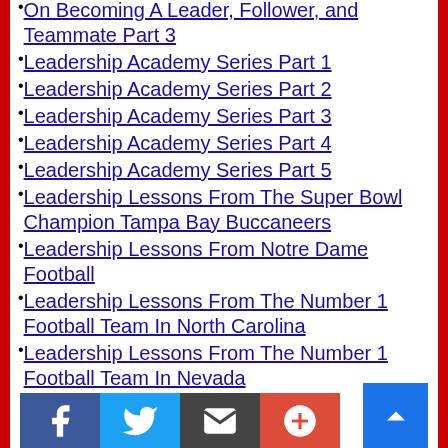On Becoming A Leader, Follower, and Teammate Part 3
Leadership Academy Series Part 1
Leadership Academy Series Part 2
Leadership Academy Series Part 3
Leadership Academy Series Part 4
Leadership Academy Series Part 5
Leadership Lessons From The Super Bowl Champion Tampa Bay Buccaneers
Leadership Lessons From Notre Dame Football
Leadership Lessons From The Number 1 Football Team In North Carolina
Leadership Lessons From The Number 1 Football Team In Nevada